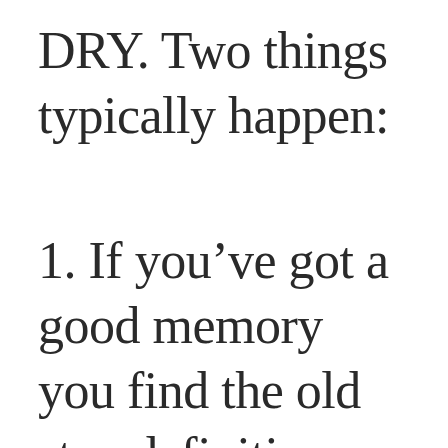DRY. Two things typically happen:
1. If you’ve got a good memory you find the old step definition